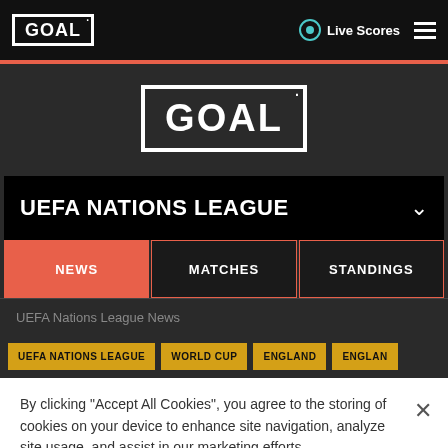GOAL | Live Scores
[Figure (logo): GOAL logo large centered on dark background]
UEFA NATIONS LEAGUE
NEWS | MATCHES | STANDINGS
UEFA Nations League News
UEFA NATIONS LEAGUE | WORLD CUP | ENGLAND | ENGLAN
By clicking "Accept All Cookies", you agree to the storing of cookies on your device to enhance site navigation, analyze site usage, and assist in our marketing efforts.